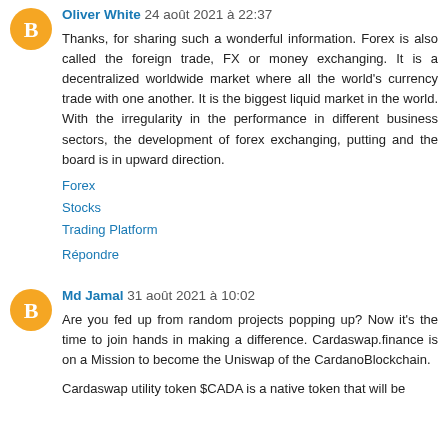Oliver White 24 août 2021 à 22:37
Thanks, for sharing such a wonderful information. Forex is also called the foreign trade, FX or money exchanging. It is a decentralized worldwide market where all the world's currency trade with one another. It is the biggest liquid market in the world. With the irregularity in the performance in different business sectors, the development of forex exchanging, putting and the board is in upward direction.
Forex
Stocks
Trading Platform
Répondre
Md Jamal 31 août 2021 à 10:02
Are you fed up from random projects popping up? Now it's the time to join hands in making a difference. Cardaswap.finance is on a Mission to become the Uniswap of the CardanoBlockchain.
Cardaswap utility token $CADA is a native token that will be